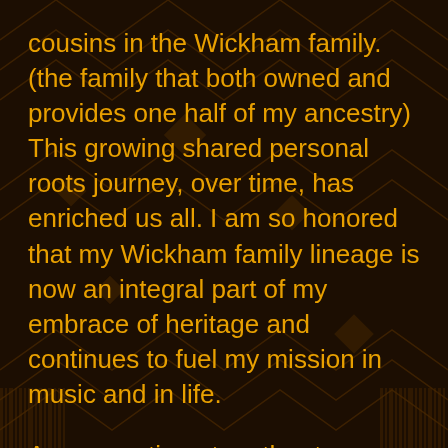cousins in the Wickham family. (the family that both owned and provides one half of my ancestry) This growing shared personal roots journey, over time, has enriched us all. I am so honored that my Wickham family lineage is now an integral part of my embrace of heritage and continues to fuel my mission in music and in life.

As we continue together to celebrate our ongoing conversation and relationship as slave/master descendants, we are discovering, anew, that injustice, history, enforced emotional distance and pain can be overcome. It has made the work that I do in schools, concert halls, faith communities of faith and with...